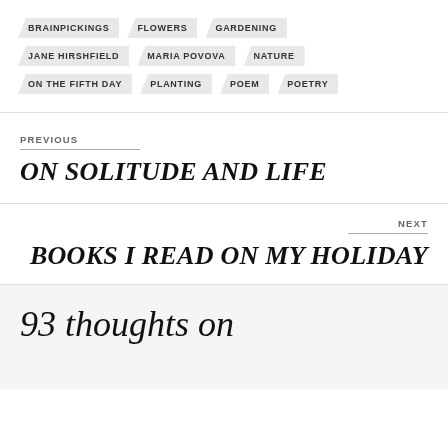BRAINPICKINGS
FLOWERS
GARDENING
JANE HIRSHFIELD
MARIA POVOVA
NATURE
ON THE FIFTH DAY
PLANTING
POEM
POETRY
PREVIOUS
ON SOLITUDE AND LIFE
NEXT
BOOKS I READ ON MY HOLIDAY
93 thoughts on